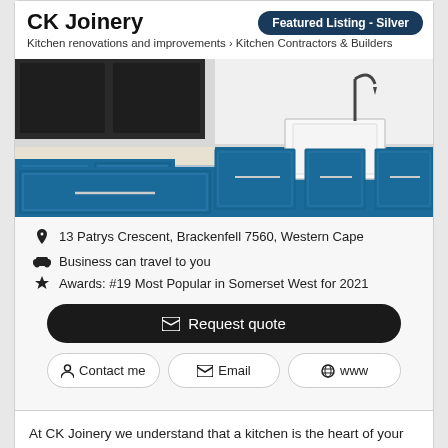CK Joinery
Kitchen renovations and improvements > Kitchen Contractors & Builders
Featured Listing - Silver
[Figure (photo): Kitchen with blue cabinets and beige countertop island, farmhouse sink visible in background]
13 Patrys Crescent, Brackenfell 7560, Western Cape
Business can travel to you
Awards: #19 Most Popular in Somerset West for 2021
Request quote
Contact me
Email
www
At CK Joinery we understand that a kitchen is the heart of your home, a place where families connect, the true heart of the home.